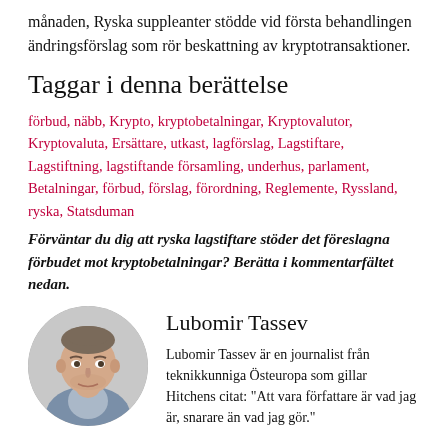månaden, Ryska suppleanter stödde vid första behandlingen ändringsförslag som rör beskattning av kryptotransaktioner.
Taggar i denna berättelse
förbud, näbb, Krypto, kryptobetalningar, Kryptovalutor, Kryptovaluta, Ersättare, utkast, lagförslag, Lagstiftare, Lagstiftning, lagstiftande församling, underhus, parlament, Betalningar, förbud, förslag, förordning, Reglemente, Ryssland, ryska, Statsduman
Förväntar du dig att ryska lagstiftare stöder det föreslagna förbudet mot kryptobetalningar? Berätta i kommentarfältet nedan.
[Figure (photo): Circular portrait photo of Lubomir Tassev, a man in a grey blazer]
Lubomir Tassev
Lubomir Tassev är en journalist från teknikkunniga Östeuropa som gillar Hitchens citat: "Att vara författare är vad jag är, snarare än vad jag gör."